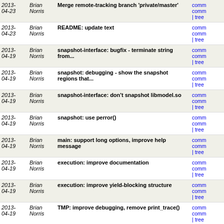| Date | Author | Message | Links |
| --- | --- | --- | --- |
| 2013-04-23 | Brian Norris | Merge remote-tracking branch 'private/master' | comm comm | tree |
| 2013-04-23 | Brian Norris | README: update text | comm comm | tree |
| 2013-04-19 | Brian Norris | snapshot-interface: bugfix - terminate string from... | comm comm | tree |
| 2013-04-19 | Brian Norris | snapshot: debugging - show the snapshot regions that... | comm comm | tree |
| 2013-04-19 | Brian Norris | snapshot-interface: don't snapshot libmodel.so | comm comm | tree |
| 2013-04-19 | Brian Norris | snapshot: use perror() | comm comm | tree |
| 2013-04-19 | Brian Norris | main: support long options, improve help message | comm comm | tree |
| 2013-04-19 | Brian Norris | execution: improve documentation | comm comm | tree |
| 2013-04-19 | Brian Norris | execution: improve yield-blocking structure | comm comm | tree |
| 2013-04-19 | Brian Norris | TMP: improve debugging, remove print_trace() | comm comm | tree |
| 2013-04-18 | Brian Norris | datarace: bugfix - use proper multiple-inclusion guard | comm comm | tree |
| 2013-04-18 | Brian Norris | stacktrace: remove usage of FILE in stacktrace | comm comm | tree |
| 2013-04-17 | Brian Norris | datarace: bugfix - don't implicitly allocate global... | comm comm | tree |